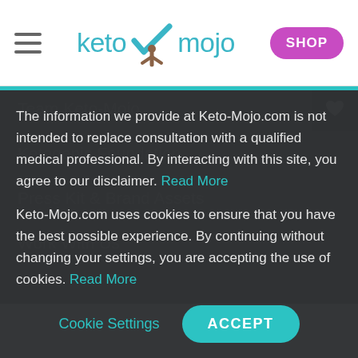keto mojo
Team Keto-Mojo
Ketogenic Foundation
Press Kit & Brand Assets
Work With Us
The information we provide at Keto-Mojo.com is not intended to replace consultation with a qualified medical professional. By interacting with this site, you agree to our disclaimer. Read More
Keto-Mojo.com uses cookies to ensure that you have the best possible experience. By continuing without changing your settings, you are accepting the use of cookies. Read More
Cookie Settings   ACCEPT